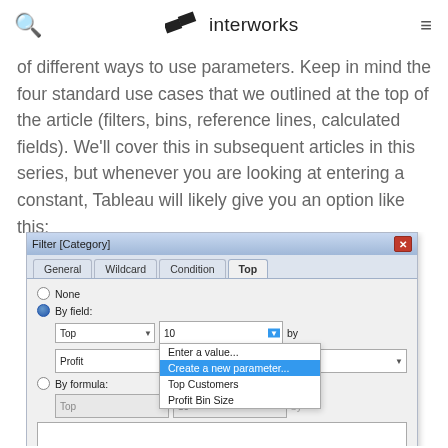interworks
of different ways to use parameters. Keep in mind the four standard use cases that we outlined at the top of the article (filters, bins, reference lines, calculated fields). We'll cover this in subsequent articles in this series, but whenever you are looking at entering a constant, Tableau will likely give you an option like this:
[Figure (screenshot): Tableau Filter [Category] dialog box showing the Top tab selected, with a dropdown menu open showing options: Enter a value..., Create a new parameter... (highlighted in blue), Top Customers, Profit Bin Size. The By field radio button is selected with Top set to 10 by Profit.]